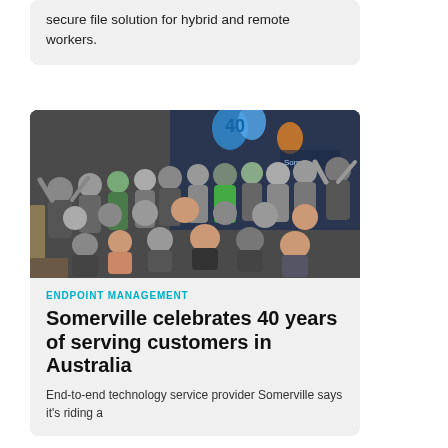secure file solution for hybrid and remote workers.
[Figure (photo): Group photo of Somerville employees celebrating 40 years, posing together in an office space with blue balloons and a '40' balloon display.]
ENDPOINT MANAGEMENT
Somerville celebrates 40 years of serving customers in Australia
End-to-end technology service provider Somerville says it's riding a